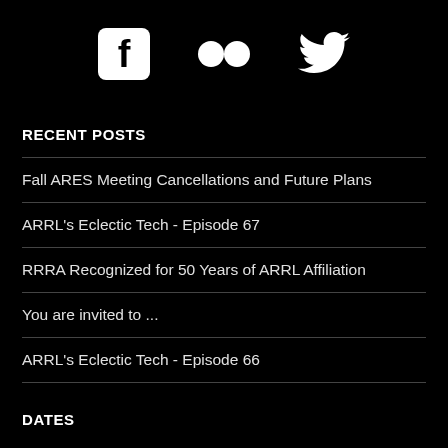[Figure (infographic): Social media icons: Facebook, Flickr, Twitter in white on black background]
RECENT POSTS
Fall ARES Meeting Cancellations and Future Plans
ARRL's Eclectic Tech - Episode 67
RRRA Recognized for 50 Years of ARRL Affiliation
You are invited to ...
ARRL's Eclectic Tech - Episode 66
DATES